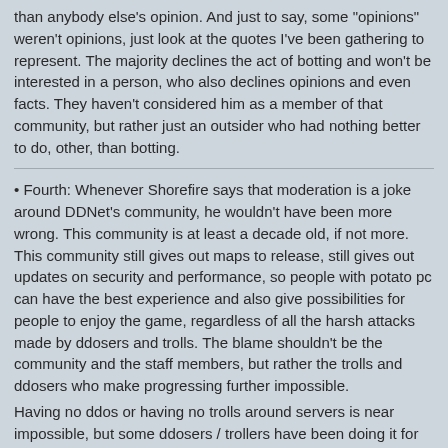than anybody else's opinion. And just to say, some "opinions" weren't opinions, just look at the quotes I've been gathering to represent. The majority declines the act of botting and won't be interested in a person, who also declines opinions and even facts. They haven't considered him as a member of that community, but rather just an outsider who had nothing better to do, other, than botting.
• Fourth: Whenever Shorefire says that moderation is a joke around DDNet's community, he wouldn't have been more wrong. This community is at least a decade old, if not more. This community still gives out maps to release, still gives out updates on security and performance, so people with potato pc can have the best experience and also give possibilities for people to enjoy the game, regardless of all the harsh attacks made by ddosers and trolls. The blame shouldn't be the community and the staff members, but rather the trolls and ddosers who make progressing further impossible.
Having no ddos or having no trolls around servers is near impossible, but some ddosers / trollers have been doing it for years!!! Let me say this: those people still play the game, sometimes enjoy the game, and they still want to harm the community of it! Outright terrible.
And some random person says that they are moderating badly, because they target a player who has been doing this bot thing as a surprising experiment towards the other people. Those people knew, that they cannot play with a guy, who can both get advantage of him, or get sabotaged by him. A coin which has two sides, and they must choose. Awful